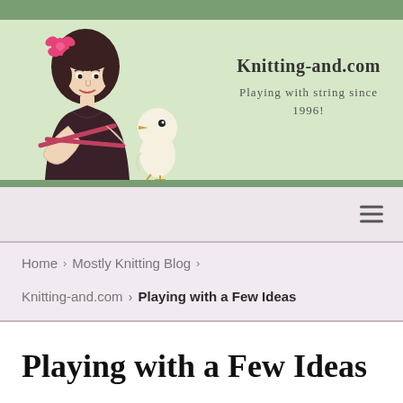[Figure (illustration): Vintage illustration of a 1950s woman with a pink flower in her hair, holding knitting needles, with a small bird/chick nearby, on a light green background. Site header banner for Knitting-and.com.]
Knitting-and.com
Playing with string since 1996!
Home › Mostly Knitting Blog ›
Knitting-and.com › Playing with a Few Ideas
Playing with a Few Ideas